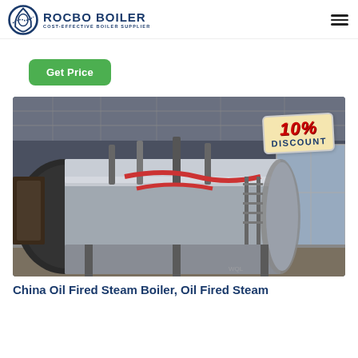ROCBO BOILER — COST-EFFECTIVE BOILER SUPPLIER
Get Price
[Figure (photo): Industrial boiler (large cylindrical silver/steel horizontal boiler) inside a factory hall with pipes and steel structure, with a '10% DISCOUNT' badge overlay in the top-right corner.]
China Oil Fired Steam Boiler, Oil Fired Steam